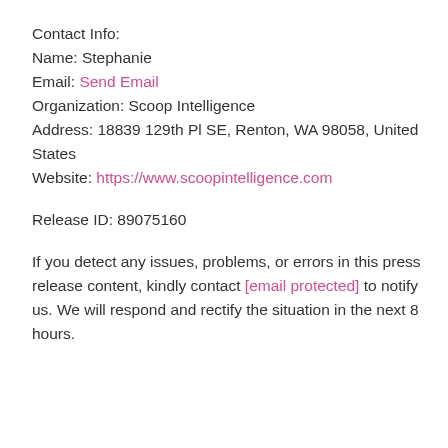Contact Info:
Name: Stephanie
Email: Send Email
Organization: Scoop Intelligence
Address: 18839 129th Pl SE, Renton, WA 98058, United States
Website: https://www.scoopintelligence.com
Release ID: 89075160
If you detect any issues, problems, or errors in this press release content, kindly contact [email protected] to notify us. We will respond and rectify the situation in the next 8 hours.